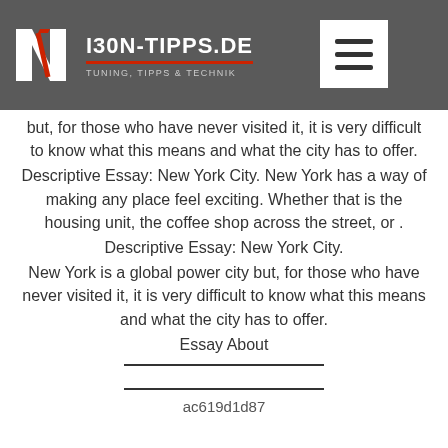I30N-TIPPS.DE — TUNING, TIPPS & TECHNIK
...but, for those who have never visited it, it is very difficult to know what this means and what the city has to offer.
Descriptive Essay: New York City. New York has a way of making any place feel exciting. Whether that is the housing unit, the coffee shop across the street, or .
Descriptive Essay: New York City.
New York is a global power city but, for those who have never visited it, it is very difficult to know what this means and what the city has to offer.
Essay About
ac619d1d87